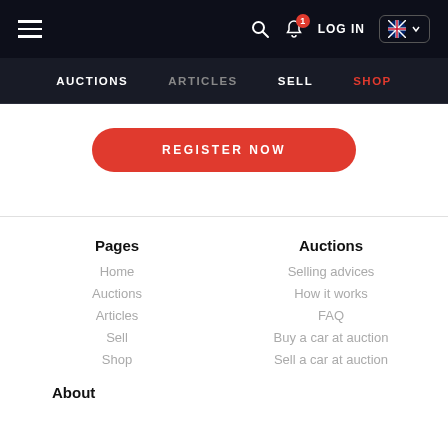≡  🔍 🔔1  LOG IN  🇬🇧
AUCTIONS  ARTICLES  SELL  SHOP
REGISTER NOW
Pages
Home
Auctions
Articles
Sell
Shop
Auctions
Selling advices
How it works
FAQ
Buy a car at auction
Sell a car at auction
About